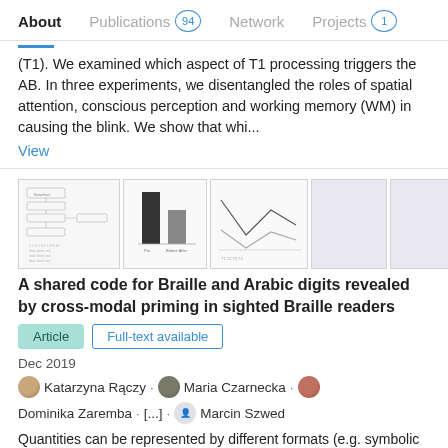About  Publications 94  Network  Projects 1
(T1). We examined which aspect of T1 processing triggers the AB. In three experiments, we disentangled the roles of spatial attention, conscious perception and working memory (WM) in causing the blink. We show that whi...
View
[Figure (other): Thumbnail images from a scientific publication showing flowcharts and bar charts related to the paper]
A shared code for Braille and Arabic digits revealed by cross-modal priming in sighted Braille readers
Article   Full-text available
Dec 2019
Katarzyna Rączy · Maria Czarnecka · Dominika Zaremba · [...] · Marcin Szwed
Quantities can be represented by different formats (e.g. symbolic or non-symbolic) and conveyed via different modalities